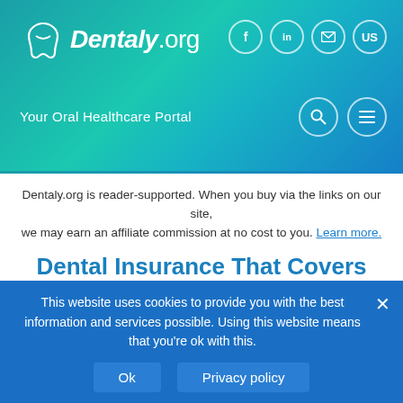[Figure (logo): Dentaly.org logo with tooth icon on teal/blue gradient header background, social icons (f, in, envelope, US) and navigation icons (search, menu)]
Your Oral Healthcare Portal
Dentaly.org is reader-supported. When you buy via the links on our site, we may earn an affiliate commission at no cost to you. Learn more.
Dental Insurance That Covers Implants: Plans Like Delta and Cigna
Contributors:  Natalie Asmussen
Published: 8 October 2020
This website uses cookies to provide you with the best information and services possible. Using this website means that you're ok with this.